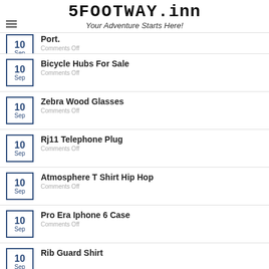5FOOTWAY.inn - Your Adventure Starts Here!
Port. | Comments Off
Bicycle Hubs For Sale | Comments Off
Zebra Wood Glasses | Comments Off
Rj11 Telephone Plug | Comments Off
Atmosphere T Shirt Hip Hop | Comments Off
Pro Era Iphone 6 Case | Comments Off
Rib Guard Shirt